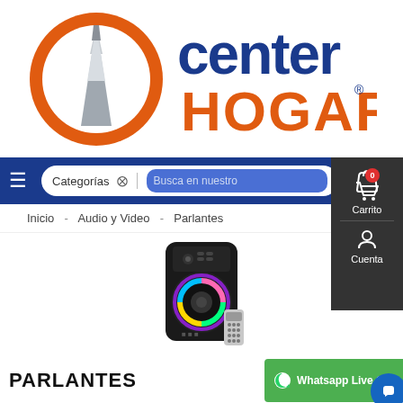[Figure (logo): Center Hogar logo: orange circle with white obelisk icon, text 'center' in dark blue and 'HOGAR' in orange with registered trademark symbol]
[Figure (screenshot): Navigation bar with hamburger menu, Categorias dropdown search bar with 'Busca en nuestro' placeholder, and cart/account panel on right showing cart with 0 items and Cuenta (account) option]
Inicio  -  Audio y Video  -  Parlantes
[Figure (photo): Product image of a portable Bluetooth speaker/parlante with colorful LED lights and remote control]
PARLANTES
Whatsapp Live Chat